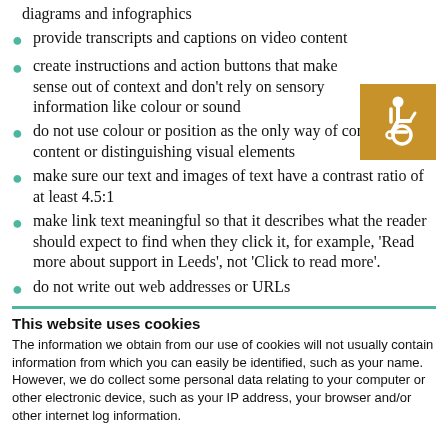diagrams and infographics
provide transcripts and captions on video content
create instructions and action buttons that make sense out of context and don’t rely on sensory information like colour or sound
[Figure (illustration): Wheelchair accessibility icon in white on an orange/gold square background]
do not use colour or position as the only way of conveying content or distinguishing visual elements
make sure our text and images of text have a contrast ratio of at least 4.5:1
make link text meaningful so that it describes what the reader should expect to find when they click it, for example, ‘Read more about support in Leeds’, not ‘Click to read more’.
do not write out web addresses or URLs
This website uses cookies
The information we obtain from our use of cookies will not usually contain information from which you can easily be identified, such as your name. However, we do collect some personal data relating to your computer or other electronic device, such as your IP address, your browser and/or other internet log information.